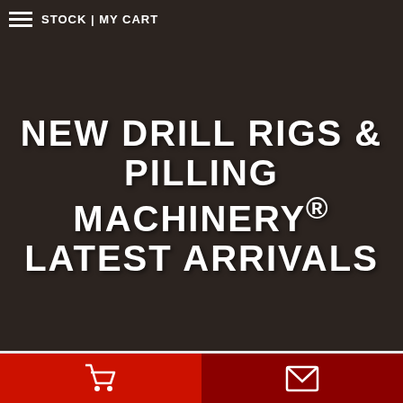STOCK | MY CART
NEW DRILL RIGS & PILLING MACHINERY® LATEST ARRIVALS
YSP45 UPWARD ROCK DRILL
[Figure (other): Star rating showing approximately 3 out of 5 stars in green]
Bottom navigation bar with shopping cart and email icons